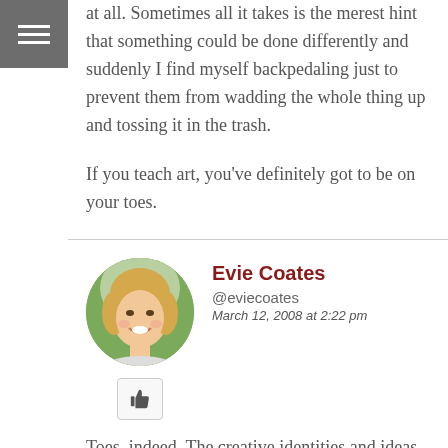at all. Sometimes all it takes is the merest hint that something could be done differently and suddenly I find myself backpedaling just to prevent them from wadding the whole thing up and tossing it in the trash.
If you teach art, you've definitely got to be on your toes.
Evie Coates
@eviecoates
March 12, 2008 at 2:22 pm
Toes, indeed. The creative identities and ideas of artistic self-worth of two hundred children rest in my trembling hands. It's a piece of dental floss upon which I flex my toes and attempt to walk with grace, high above